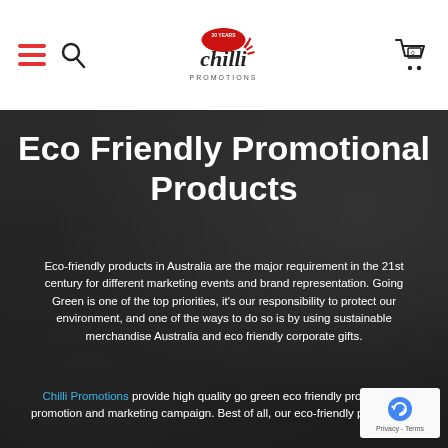[Figure (screenshot): Website navigation bar with hamburger menu (red), search icon, Chilli Promotions logo in center, and shopping cart icon with 0 items on right]
Eco Friendly Promotional Products
Eco-friendly products in Australia are the major requirement in the 21st century for different marketing events and brand representation. Going Green is one of the top priorities, it's our responsibility to protect our environment, and one of the ways to do so is by using sustainable merchandise Australia and eco friendly corporate gifts.
Chilli Promotions provide high quality go green eco friendly products for promotion and marketing campaign. Best of all, our eco-friendly promotional